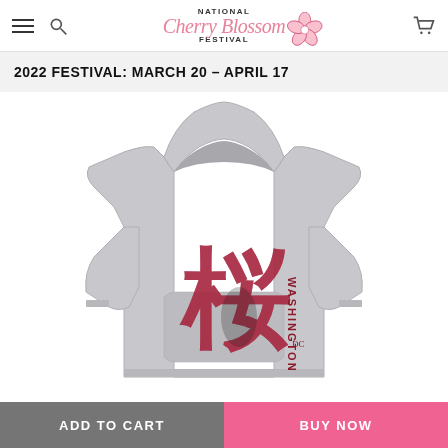National Cherry Blossom Festival — navigation bar with hamburger menu, search icon, logo, and cart icon
2022 FESTIVAL: MARCH 20 – APRIL 17
[Figure (photo): Gray children's hoodie with large red Japanese kanji character (sakura/cherry blossom) and the word WASHINGTON printed vertically in red on the chest]
ADD TO CART
BUY NOW